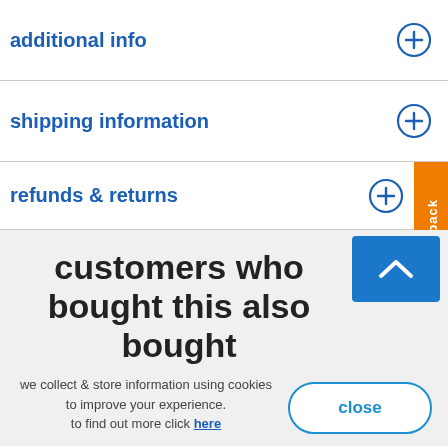additional info
shipping information
refunds & returns
customers who bought this also bought
we collect & store information using cookies to improve your experience. to find out more click here